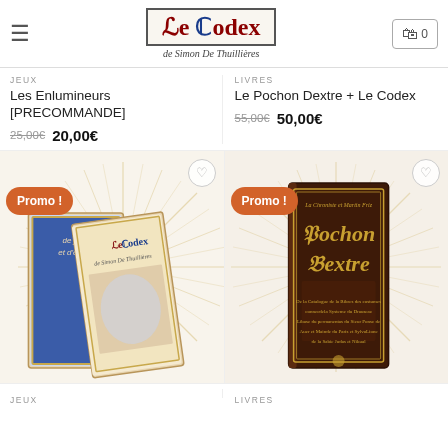Le Codex de Simon De Thuillières — navigation header with cart (0)
JEUX
Les Enlumineurs [PRECOMMANDE]
25,00€  20,00€
LIVRES
Le Pochon Dextre + Le Codex
55,00€  50,00€
[Figure (photo): Two books shown: a medieval-themed jeux (games) book and Le Codex, with a Promo! badge and sunburst background]
[Figure (photo): Book cover Pochon Dextre shown upright with Promo! badge and sunburst background]
JEUX
LIVRES